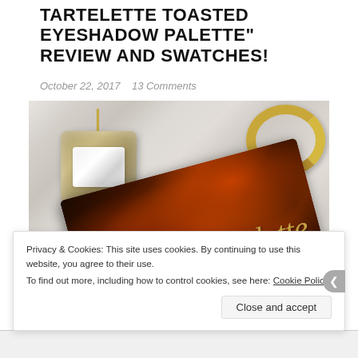TARTELETTE TOASTED EYESHADOW PALETTE" REVIEW AND SWATCHES!
October 22, 2017    13 Comments
[Figure (photo): Photo of Tartelette Toasted eyeshadow palette with tortoiseshell case showing 'tartelette' script, alongside a crystal/rhinestone heart pendant necklace and a gold bangle ring on a marble surface]
Privacy & Cookies: This site uses cookies. By continuing to use this website, you agree to their use.
To find out more, including how to control cookies, see here: Cookie Policy
Close and accept